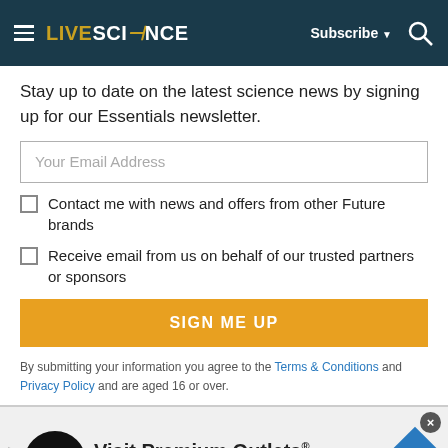LIVESCIENCE | Subscribe | Search
Stay up to date on the latest science news by signing up for our Essentials newsletter.
Your Email Address
Contact me with news and offers from other Future brands
Receive email from us on behalf of our trusted partners or sponsors
SIGN ME UP
By submitting your information you agree to the Terms & Conditions and Privacy Policy and are aged 16 or over.
[Figure (infographic): Advertisement banner for Visit Premium Outlets – Leesburg Premium Outlets, with logo, play button, close button, and navigation arrow icon.]